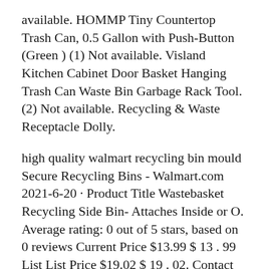available. HOMMP Tiny Countertop Trash Can, 0.5 Gallon with Push-Button (Green ) (1) Not available. Visland Kitchen Cabinet Door Basket Hanging Trash Can Waste Bin Garbage Rack Tool. (2) Not available. Recycling & Waste Receptacle Dolly.
high quality walmart recycling bin mould Secure Recycling Bins - Walmart.com 2021-6-20 · Product Title Wastebasket Recycling Side Bin- Attaches Inside or O. Average rating: 0 out of 5 stars, based on 0 reviews Current Price $13.99 $ 13 . 99 List List Price $19.02 $ 19 . 02. Contact Us. walmart bins, walmart bins Suppliers and … Alibaba.com offers 1,120 walmart bins products.
walmart recycling bin mould in anguilla Trash Cans & Recycle Bins - Walmart.com . Product Title 40L Plastic Recycling Rubbish Trash Bin Kitchen Bath. Average rating: 3 out of 5 stars, based on 6 reviews 6 ratings